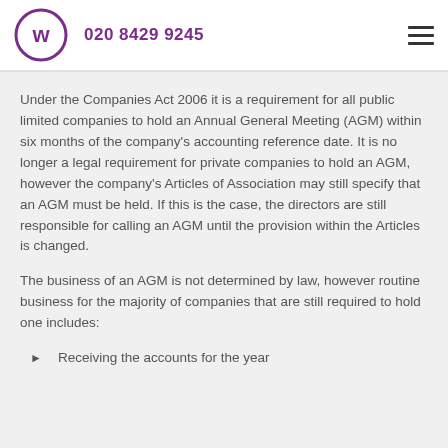020 8429 9245
Under the Companies Act 2006 it is a requirement for all public limited companies to hold an Annual General Meeting (AGM) within six months of the company's accounting reference date. It is no longer a legal requirement for private companies to hold an AGM, however the company's Articles of Association may still specify that an AGM must be held. If this is the case, the directors are still responsible for calling an AGM until the provision within the Articles is changed.
The business of an AGM is not determined by law, however routine business for the majority of companies that are still required to hold one includes:
Receiving the accounts for the year